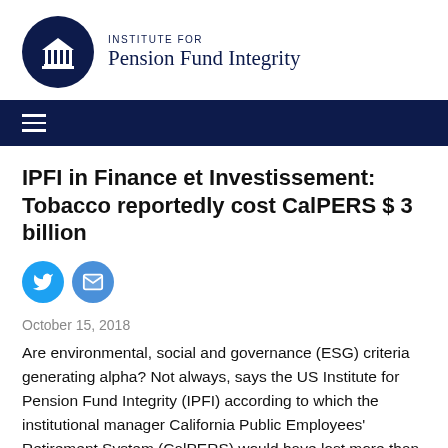[Figure (logo): Institute for Pension Fund Integrity logo — dark navy circle with a classical building/columns icon, beside the text 'INSTITUTE FOR Pension Fund Integrity']
INSTITUTE FOR Pension Fund Integrity
IPFI in Finance et Investissement: Tobacco reportedly cost CalPERS $ 3 billion
October 15, 2018
Are environmental, social and governance (ESG) criteria generating alpha? Not always, says the US Institute for Pension Fund Integrity (IPFI) according to which the institutional manager California Public Employees' Retirement System (CalPERS) would have lost more than US $ 3 billion in potential returns following its withdrawal from the sector tobacco in the year 2000.